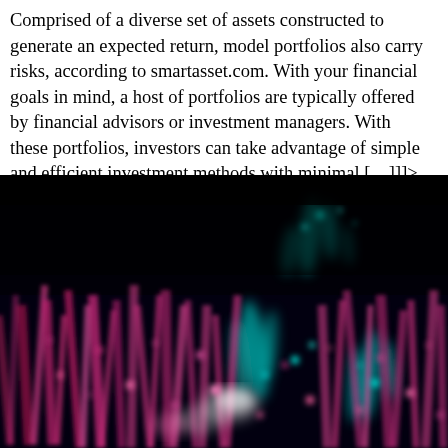Comprised of a diverse set of assets constructed to generate an expected return, model portfolios also carry risks, according to smartasset.com. With your financial goals in mind, a host of portfolios are typically offered by financial advisors or investment managers. With these portfolios, investors can take advantage of simple and efficient investment methods with minimal […]]]>
[Figure (photo): Abstract dark background image with glowing pink/magenta and cyan particle streaks resembling data visualization or aurora-like light patterns against a near-black background.]